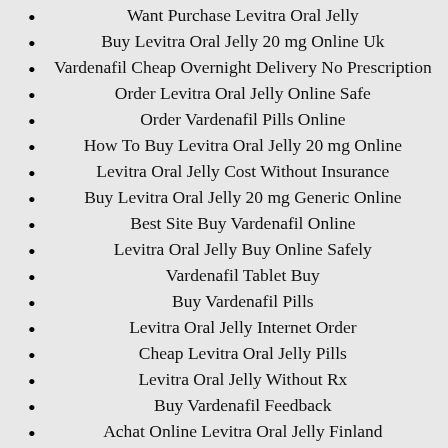Want Purchase Levitra Oral Jelly
Buy Levitra Oral Jelly 20 mg Online Uk
Vardenafil Cheap Overnight Delivery No Prescription
Order Levitra Oral Jelly Online Safe
Order Vardenafil Pills Online
How To Buy Levitra Oral Jelly 20 mg Online
Levitra Oral Jelly Cost Without Insurance
Buy Levitra Oral Jelly 20 mg Generic Online
Best Site Buy Vardenafil Online
Levitra Oral Jelly Buy Online Safely
Vardenafil Tablet Buy
Buy Vardenafil Pills
Levitra Oral Jelly Internet Order
Cheap Levitra Oral Jelly Pills
Levitra Oral Jelly Without Rx
Buy Vardenafil Feedback
Achat Online Levitra Oral Jelly Finland
Buy Vardenafil Direct